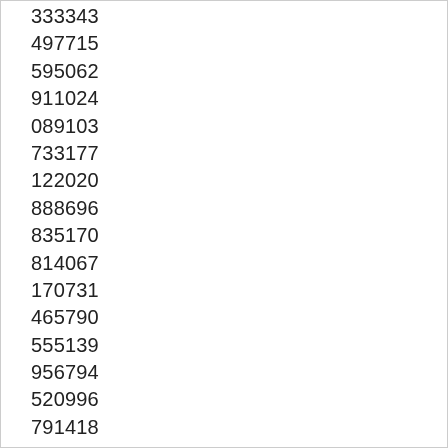333343
497715
595062
911024
089103
733177
122020
888696
835170
814067
170731
465790
555139
956794
520996
791418
411693
983377
826231